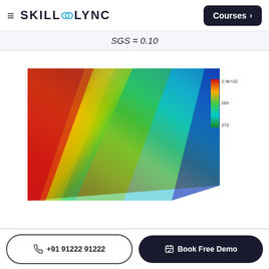SKILL-LYNC  Courses >
SGS = 0.10
[Figure (continuous-plot): CFD simulation result showing a temperature or flow field contour plot with a rainbow color map. The left side is red (high values ~2.9e+02), transitioning through yellow and green to cyan and blue (low values ~270) on the right side. A diagonal band separates the regions. This appears to be a SGS (Sub-Grid Scale) model result plot.]
+91 91222 91222   Book Free Demo